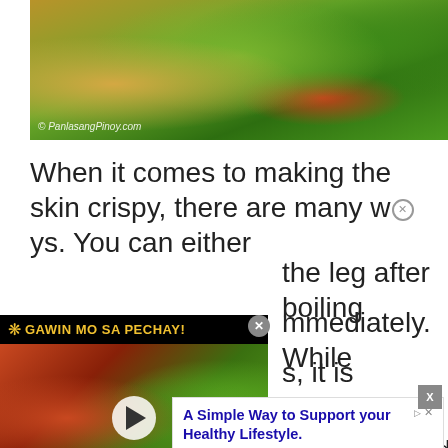[Figure (photo): Food photo showing rice dish with herbs, parsley greens, and colorful ingredients. Watermark reads © PanlasangPinoy.com]
When it comes to making the skin crispy, there are many ways. You can either [the leg after boiling] mmediately. While [s], it is somewhat dan[gerous] ever[y] effe[ct] ed
[Figure (screenshot): Video overlay with title GAWIN MO SA PECHAY! showing food rolls thumbnail with play button]
[Figure (screenshot): Advertisement overlay: A Simple Way to Support your Healthy Lifestyle. Three Delicious Flavors. happy being. Open button.]